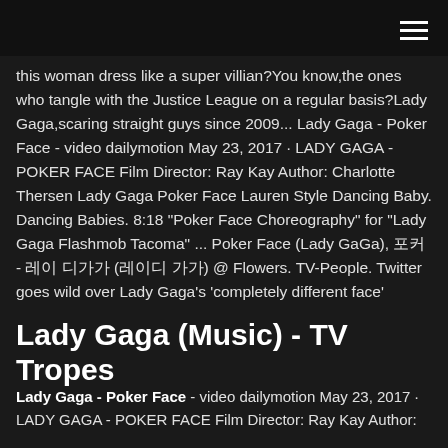☰
this woman dress like a super villian?You know,the ones who tangle with the Justice League on a regular basis?Lady Gaga,scaring straight guys since 2009... Lady Gaga - Poker Face - video dailymotion May 23, 2017 · LADY GAGA - POKER FACE Film Director: Ray Kay Author: Charlotte Thersen Lady Gaga Poker Face Lauren Style Dancing Baby. Dancing Babies. 8:18 "Poker Face Choreography" for "Lady Gaga Flashmob Tacoma" ... Poker Face (Lady GaGa), 포커 - 레이 디가가 (레이디 가가) @ Flowers. TV-People. Twitter goes wild over Lady Gaga's 'completely different face'
Lady Gaga (Music) - TV Tropes
Lady Gaga - Poker Face - video dailymotion May 23, 2017 · LADY GAGA - POKER FACE Film Director: Ray Kay Author: